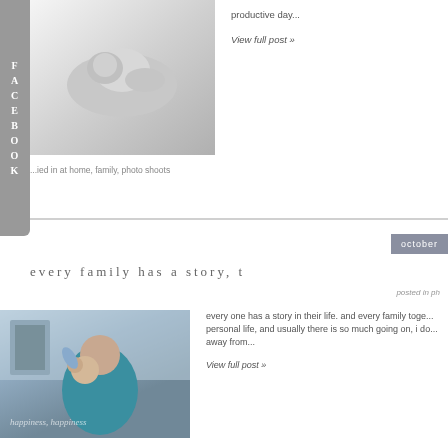productive day...
View full post »
[Figure (photo): Black and white photo of a newborn baby]
...ied in at home, family, photo shoots
october
every family has a story, t
posted in ph
every one has a story in their life.  and every family toge... personal life, and usually there is so much going on, i do... away from...
View full post »
[Figure (photo): Color photo of a parent holding a laughing baby outdoors, with script text overlay reading 'happiness, happiness']